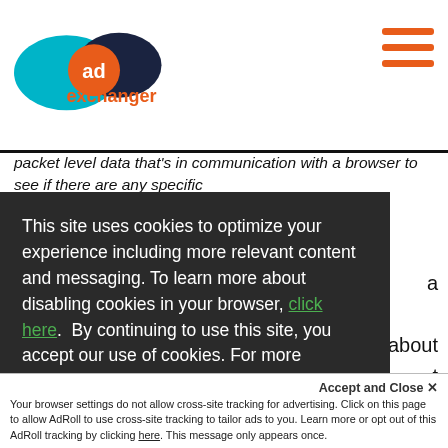[Figure (logo): AdExchanger logo with teal/blue oval and dark blue oval overlapping, orange 'ad' circle in center, 'exchanger' text in orange below]
[Figure (other): Hamburger menu icon (three orange horizontal lines) in top right corner]
packet level data that's in communication with a browser to see if there are any specific
This site uses cookies to optimize your experience including more relevant content and messaging. To learn more about disabling cookies in your browser, click here.  By continuing to use this site, you accept our use of cookies. For more information, view our updated Privacy Policy.
Your browser settings do not allow cross-site tracking for advertising. Click on this page to allow AdRoll to use cross-site tracking to tailor ads to you. Learn more or opt out of this AdRoll tracking by clicking here. This message only appears once.